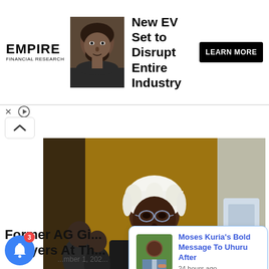[Figure (infographic): Empire Financial Research advertisement banner with man's portrait photo, text 'New EV Set to Disrupt Entire Industry' and a 'LEARN MORE' button]
[Figure (photo): Main article photo: lawyer wearing a white wig and black robe speaking at a microphone in a formal court setting, with other lawyers visible in background]
Former AG Gi... Lawyers At Th...
...mber 1, 202...
[Figure (infographic): Push notification popup showing a thumbnail of Moses Kuria with text: 'Moses Kuria's Bold Message To Uhuru After' and '24 hours ago']